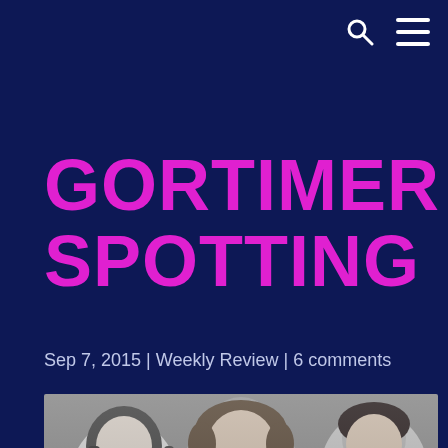🔍 ☰
GORTIMER SPOTTING
Sep 7, 2015 | Weekly Review | 6 comments
[Figure (photo): Black and white headshot photo of three young actors: a girl on the left with long dark hair, a boy in the center with messy brown hair, and a boy on the right with short dark hair smiling.]